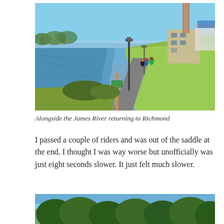[Figure (photo): Cyclists riding along a paved path beside the James River, with green grass slopes, a tall brick smokestack, industrial buildings, and a lamp post visible. City skyline in the background under a blue sky.]
Alongside the James River returning to Richmond
I passed a couple of riders and was out of the saddle at the end. I thought I was way worse but unofficially was just eight seconds slower. It just felt much slower.
[Figure (photo): Partial view of trees with blue sky visible above, appearing to be the top of a second outdoor photograph cropped at the bottom of the page.]